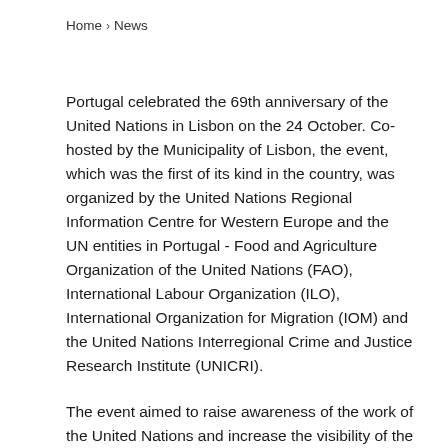Home > News
Portugal celebrated the 69th anniversary of the United Nations in Lisbon on the 24 October. Co-hosted by the Municipality of Lisbon, the event, which was the first of its kind in the country, was organized by the United Nations Regional Information Centre for Western Europe and the UN entities in Portugal - Food and Agriculture Organization of the United Nations (FAO), International Labour Organization (ILO), International Organization for Migration (IOM) and the United Nations Interregional Crime and Justice Research Institute (UNICRI).
The event aimed to raise awareness of the work of the United Nations and increase the visibility of the residing UN entities and their activities in...